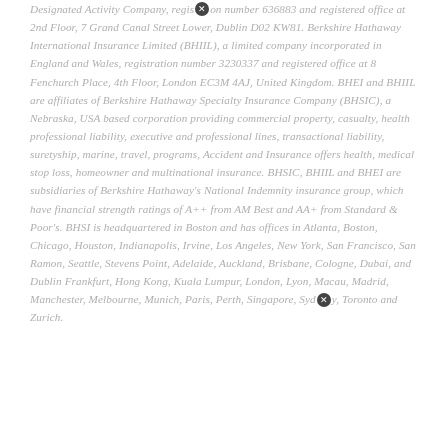Designated Activity Company, registration number 636883 and registered office at 2nd Floor, 7 Grand Canal Street Lower, Dublin D02 KW81. Berkshire Hathaway International Insurance Limited (BHIIL), a limited company incorporated in England and Wales, registration number 3230337 and registered office at 8 Fenchurch Place, 4th Floor, London EC3M 4AJ, United Kingdom. BHEI and BHIIL are affiliates of Berkshire Hathaway Specialty Insurance Company (BHSIC), a Nebraska, USA based corporation providing commercial property, casualty, health professional liability, executive and professional lines, transactional liability, suretyship, marine, travel, programs, Accident and Insurance offers health, medical stop loss, homeowner and multinational insurance. BHSIC, BHIIL and BHEI are subsidiaries of Berkshire Hathaway's National Indemnity insurance group, which have financial strength ratings of A++ from AM Best and AA+ from Standard & Poor's. BHSI is headquartered in Boston and has offices in Atlanta, Boston, Chicago, Houston, Indianapolis, Irvine, Los Angeles, New York, San Francisco, San Ramon, Seattle, Stevens Point, Adelaide, Auckland, Brisbane, Cologne, Dubai, and Dublin Frankfurt, Hong Kong, Kuala Lumpur, London, Lyon, Macau, Madrid, Manchester, Melbourne, Munich, Paris, Perth, Singapore, Sydney, Toronto and Zurich.